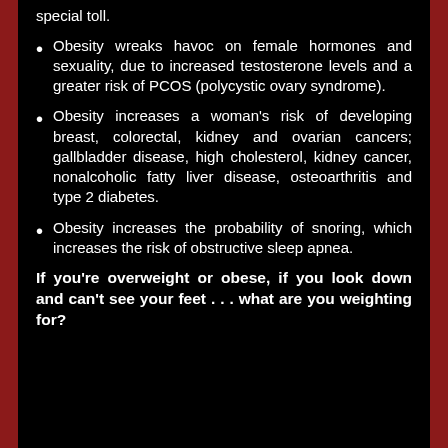special toll.
Obesity wreaks havoc on female hormones and sexuality, due to increased testosterone levels and a greater risk of PCOS (polycystic ovary syndrome).
Obesity increases a woman's risk of developing breast, colorectal, kidney and ovarian cancers; gallbladder disease, high cholesterol, kidney cancer, nonalcoholic fatty liver disease, osteoarthritis and type 2 diabetes.
Obesity increases the probability of snoring, which increases the risk of obstructive sleep apnea.
If you're overweight or obese, if you look down and can't see your feet . . . what are you weighting for?